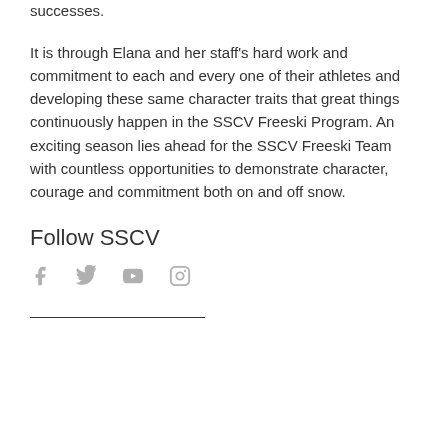successes.
It is through Elana and her staff's hard work and commitment to each and every one of their athletes and developing these same character traits that great things continuously happen in the SSCV Freeski Program. An exciting season lies ahead for the SSCV Freeski Team with countless opportunities to demonstrate character, courage and commitment both on and off snow.
Follow SSCV
[Figure (infographic): Social media icons: Facebook (f), Twitter (bird), YouTube (play button), Instagram (camera outline), all in light grey]
[Figure (other): Horizontal divider line]